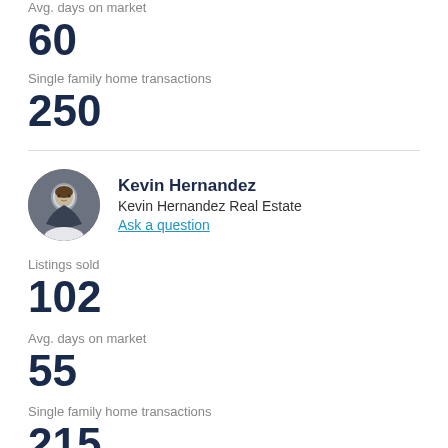Avg. days on market
60
Single family home transactions
250
[Figure (photo): Circular headshot of Kevin Hernandez, a man in a suit]
Kevin Hernandez
Kevin Hernandez Real Estate
Ask a question
Listings sold
102
Avg. days on market
55
Single family home transactions
215